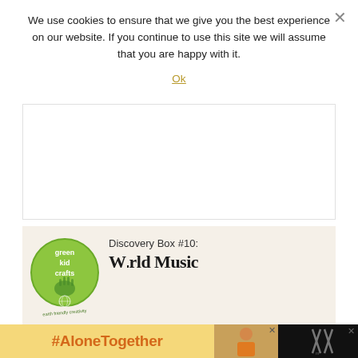We use cookies to ensure that we give you the best experience on our website. If you continue to use this site we will assume that you are happy with it.
Ok
[Figure (other): White empty advertisement box with light gray border]
[Figure (other): Green Kid Crafts advertisement banner showing the Green Kid Crafts circular logo on the left and text 'Discovery Box #10: World Music' on a cream/beige background]
[Figure (other): Bottom banner ad strip showing '#AloneTogether' in orange text on yellow background, a photo of a woman, a close button, and a dark section with utensil icons]